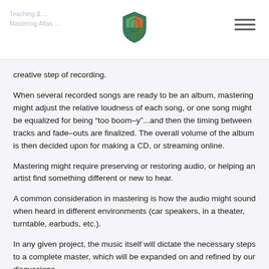creative step of recording.
When several recorded songs are ready to be an album, mastering might adjust the relative loudness of each song, or one song might be equalized for being “too boom-y”...and then the timing between tracks and fade-outs are finalized. The overall volume of the album is then decided upon for making a CD, or streaming online.
Mastering might require preserving or restoring audio, or helping an artist find something different or new to hear.
A common consideration in mastering is how the audio might sound when heard in different environments (car speakers, in a theater, turntable, earbuds, etc.).
In any given project, the music itself will dictate the necessary steps to a complete master, which will be expanded on and refined by our discussions.